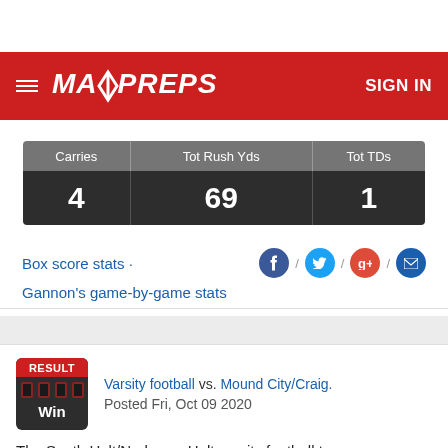[Figure (logo): MaxPreps website header with hamburger menu, MaxPreps logo, and SIGN IN button on red background]
| Carries | Tot Rush Yds | Tot TDs |
| --- | --- | --- |
| 4 | 69 | 1 |
Box score stats · Gannon's game-by-game stats
RESULT Win — Varsity football vs. Mound City/Craig. Posted Fri, Oct 09 2020
The South Holt/Nodaway-Holt varsity football team won Friday's home conference game against Mound City/Craig (Mound City, MO)